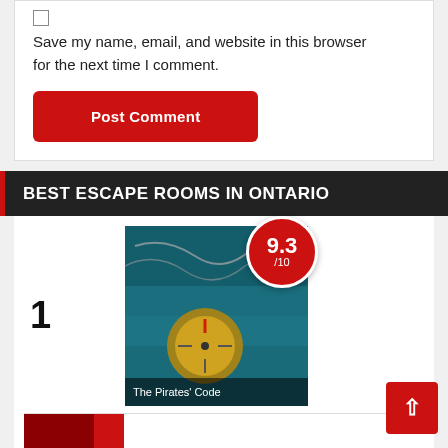Save my name, email, and website in this browser for the next time I comment.
Post Comment
BEST ESCAPE ROOMS IN ONTARIO
1
[Figure (photo): Escape room listing image for 'The Pirates' Code' showing a compass and ocean water with a 9.3/10 score badge overlay]
The Pirates' Code